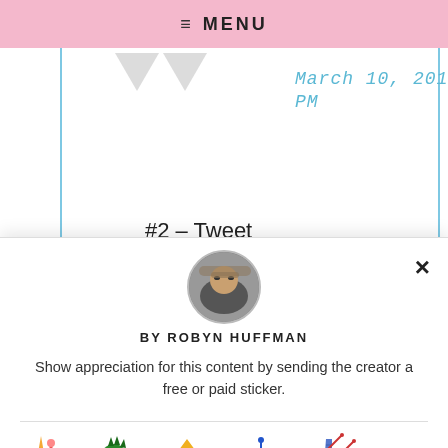≡ MENU
[Figure (screenshot): Blog post header area with blue vertical border lines, grey pennant triangles, and handwritten-style blue text reading 'March 10, 2011 at 5:36 PM']
#2 – Tweet
[Figure (screenshot): Modal dialog with circular profile photo of Robyn Huffman, close X button, 'BY ROBYN HUFFMAN' heading, description text, divider, and a row of sticker options labeled Free, $1.00, $2.00, $4.00, $8.00, $12.00]
BY ROBYN HUFFMAN
Show appreciation for this content by sending the creator a free or paid sticker.
Free
$1.00
$2.00
$4.00
$8.00
$12.00